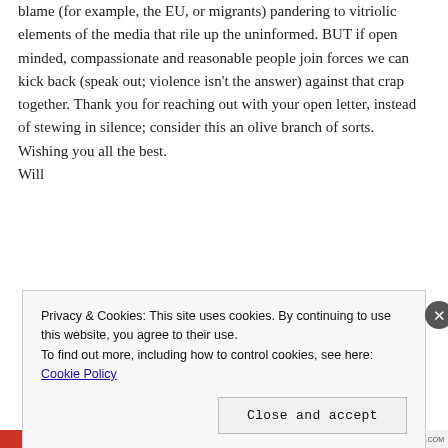blame (for example, the EU, or migrants) pandering to vitriolic elements of the media that rile up the uninformed. BUT if open minded, compassionate and reasonable people join forces we can kick back (speak out; violence isn't the answer) against that crap together. Thank you for reaching out with your open letter, instead of stewing in silence; consider this an olive branch of sorts.

Wishing you all the best.
Will
Privacy & Cookies: This site uses cookies. By continuing to use this website, you agree to their use.
To find out more, including how to control cookies, see here: Cookie Policy
Close and accept